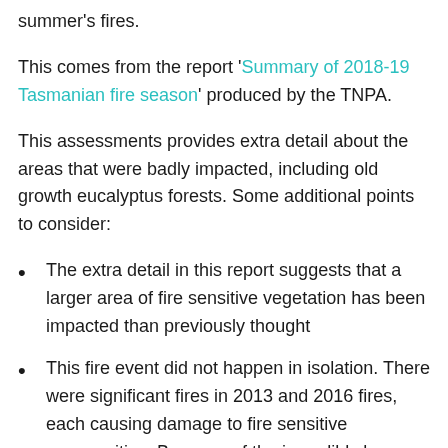summer's fires.
This comes from the report 'Summary of 2018-19 Tasmanian fire season' produced by the TNPA.
This assessments provides extra detail about the areas that were badly impacted, including old growth eucalyptus forests. Some additional points to consider:
The extra detail in this report suggests that a larger area of fire sensitive vegetation has been impacted than previously thought
This fire event did not happen in isolation. There were significant fires in 2013 and 2016 fires, each causing damage to fire sensitive communities. Because of the incredibly long time frame for these vegetation types to recover,